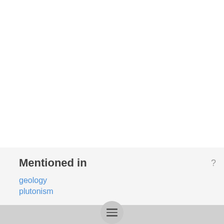Mentioned in
geology
plutonism